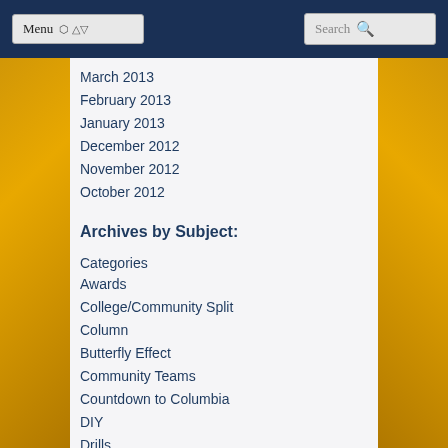Menu | Search
March 2013
February 2013
January 2013
December 2012
November 2012
October 2012
Archives by Subject:
Categories
Awards
College/Community Split
Column
Butterfly Effect
Community Teams
Countdown to Columbia
DIY
Drills
Elo Rankings
Fantasy Fantasy Tournaments
All-Campus Cup
All-Timer Tournament